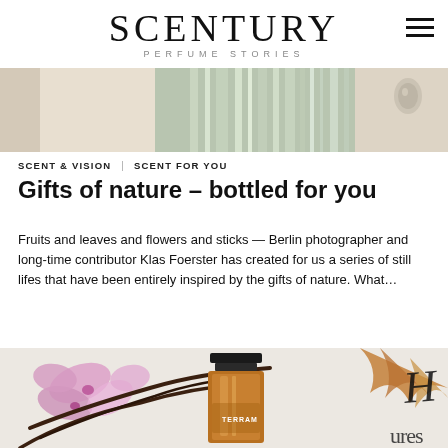SCENTURY PERFUME STORIES
[Figure (photo): Top portion of a perfume bottle with green/silver reflective surface and a small round drop, shown on a cream/beige background]
SCENT & VISION   SCENT FOR YOU
Gifts of nature – bottled for you
Fruits and leaves and flowers and sticks — Berlin photographer and long-time contributor Klas Foerster has created for us a series of still lifes that have been entirely inspired by the gifts of nature. What…
[Figure (photo): A fragrance bottle (TERRAM, amber/gold colored with black cap) surrounded by orchid flowers, vanilla pods, and autumn leaves on a white textured background. Partial text of brand/product name visible on right side.]